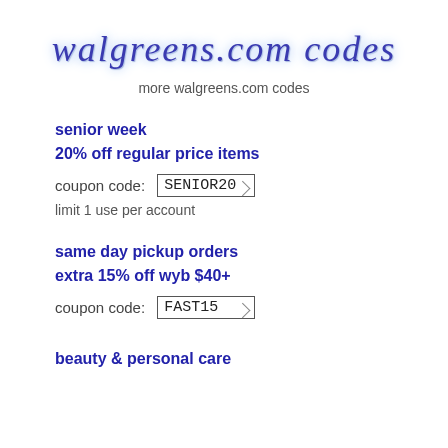walgreens.com codes
more walgreens.com codes
senior week
20% off regular price items
coupon code: SENIOR20
limit 1 use per account
same day pickup orders
extra 15% off wyb $40+
coupon code: FAST15
beauty & personal care